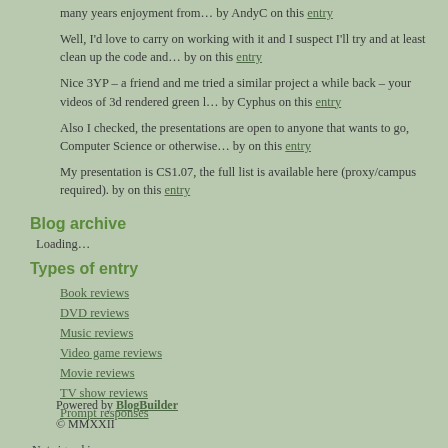many years enjoyment from… by AndyC on this entry
Well, I'd love to carry on working with it and I suspect I'll try and at least clean up the code and… by on this entry
Nice 3YP – a friend and me tried a similar project a while back – your videos of 3d rendered green l… by Cyphus on this entry
Also I checked, the presentations are open to anyone that wants to go, Computer Science or otherwise… by on this entry
My presentation is CS1.07, the full list is available here (proxy/campus required). by on this entry
Blog archive
Loading…
Types of entry
Book reviews
DVD reviews
Music reviews
Video game reviews
Movie reviews
TV show reviews
Prompt responses
Not signed in
Sign in
Powered by BlogBuilder
© MMXXII